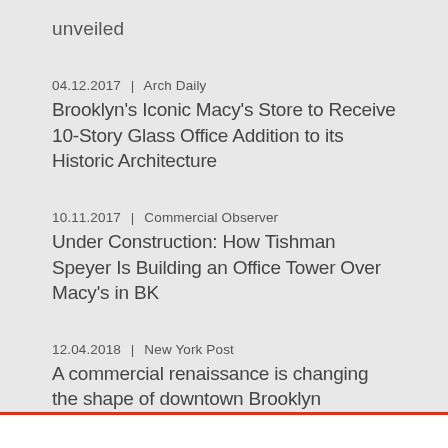unveiled
04.12.2017 | Arch Daily
Brooklyn's Iconic Macy's Store to Receive 10-Story Glass Office Addition to its Historic Architecture
10.11.2017 | Commercial Observer
Under Construction: How Tishman Speyer Is Building an Office Tower Over Macy's in BK
12.04.2018 | New York Post
A commercial renaissance is changing the shape of downtown Brooklyn